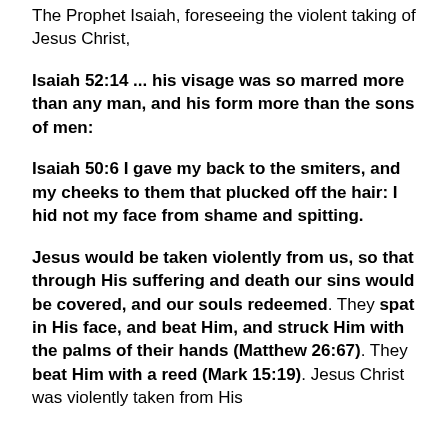The Prophet Isaiah, foreseeing the violent taking of Jesus Christ,
Isaiah 52:14 ... his visage was so marred more than any man, and his form more than the sons of men:
Isaiah 50:6 I gave my back to the smiters, and my cheeks to them that plucked off the hair: I hid not my face from shame and spitting.
Jesus would be taken violently from us, so that through His suffering and death our sins would be covered, and our souls redeemed. They spat in His face, and beat Him, and struck Him with the palms of their hands (Matthew 26:67). They beat Him with a reed (Mark 15:19). Jesus Christ was violently taken from His